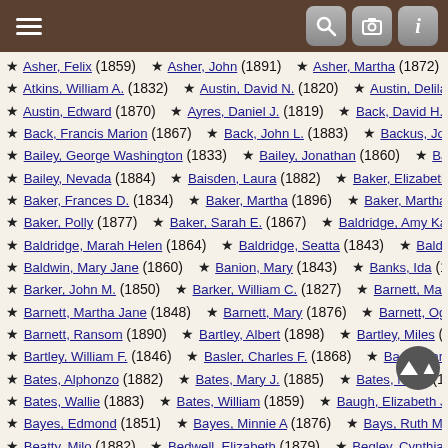Navigation toolbar with hamburger menu and search/camera/info icons
★ Asher, Felix (1859)  ★ Asher, John (1891)  ★ Asher, Martha (1872)  ★ Asher...
★ Atkins, William A. (1832)  ★ Austin, David N. (1820)  ★ Austin, Delilah (1832)
★ Austin, Edward (1870)  ★ Ayres, Daniel J. (1819)  ★ Back, David H. (1865)
★ Back, Francis Marion (1867)  ★ Back, John L. (1883)  ★ Backus, Joseph Alexan...
★ Bailey, George Washington (1833)  ★ Bailey, Jonathan (1860)  ★ Bailey, Mary E...
★ Bailey, Nevada (1884)  ★ Baisden, Laura (1882)  ★ Baker, Elizabeth (1825)
★ Baker, Frances D. (1834)  ★ Baker, Martha (1896)  ★ Baker, Martha Elvira (1833...)
★ Baker, Polly (1877)  ★ Baker, Sarah E. (1867)  ★ Baldridge, Amy Kathryne (185...)
★ Baldridge, Marah Helen (1864)  ★ Baldridge, Seatta (1843)  ★ Baldridge, William...
★ Baldwin, Mary Jane (1860)  ★ Banion, Mary (1843)  ★ Banks, Ida (1891)
★ Barker, John M. (1850)  ★ Barker, William C. (1827)  ★ Barnett, Martha (1875)
★ Barnett, Martha Jane (1848)  ★ Barnett, Mary (1876)  ★ Barnett, Ogalene (186...)
★ Barnett, Ransom (1890)  ★ Bartley, Albert (1898)  ★ Bartley, Miles (1877)
★ Bartley, William F. (1846)  ★ Basler, Charles F. (1868)  ★ Bass, Mark E. (1892)
★ Bates, Alphonzo (1882)  ★ Bates, Mary J. (1885)  ★ Bates, Noah (1899)
★ Bates, Wallie (1883)  ★ Bates, William (1859)  ★ Baugh, Elizabeth Jane (1847...)
★ Bayes, Edmond (1851)  ★ Bayes, Minnie A (1876)  ★ Bays, Ruth May (1847)
★ Beatty, Milo (1882)  ★ Bedwell, Elizabeth (1879)  ★ Begley, Cynthia (1899)
★ Begley, Ezekiel (1884)  ★ Begley, Samuel C (1858)  ★ Belcher, Marg... (184...)
★ Belcher, Mary Ann (1848)  ★ Belcher, William Thurston (1884)  ★ Bent...da (...)
★ Bentley, Ada Elizabeth (1872)  ★ Bentley, Daniel Van (1887)  ★ Bentley, Dow (11...)